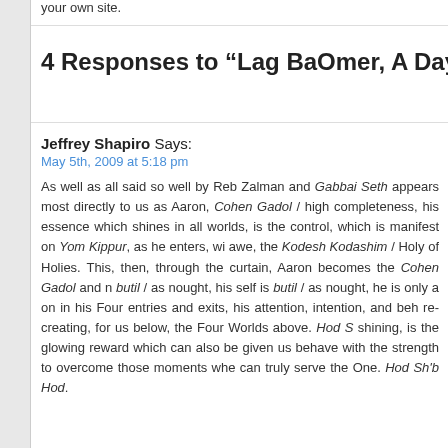your own site.
4 Responses to “Lag BaOmer, A Day of H
Jeffrey Shapiro Says:
May 5th, 2009 at 5:18 pm

As well as all said so well by Reb Zalman and Gabbai Seth appears most directly to us as Aaron, Cohen Gadol / high completeness, his essence which shines in all worlds, is the control, which is manifest on Yom Kippur, as he enters, wi awe, the Kodesh Kodashim / Holy of Holies. This, then, through the curtain, Aaron becomes the Cohen Gadol and n butil / as nought, his self is butil / as nought, he is only a on in his Four entries and exits, his attention, intention, and beh re-creating, for us below, the Four Worlds above. Hod S shining, is the glowing reward which can also be given us behave with the strength to overcome those moments whe can truly serve the One. Hod Sh'b Hod.
Schemuel Says:
May 11th, 2011 at 5:11 am

I need to come up with a speech on 41st day of Omer, which

Could you give me some ideas/ thoughts for such a speech p